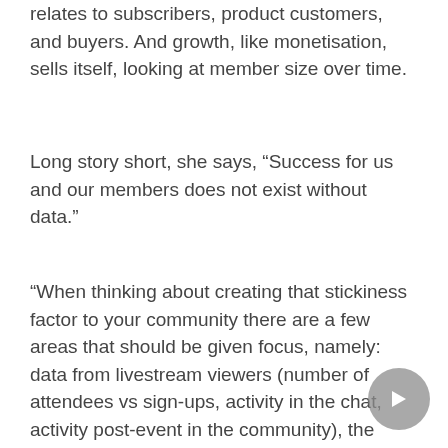relates to subscribers, product customers, and buyers. And growth, like monetisation, sells itself, looking at member size over time.
Long story short, she says, “Success for us and our members does not exist without data.”
“When thinking about creating that stickiness factor to your community there are a few areas that should be given focus, namely: data from livestream viewers (number of attendees vs sign-ups, activity in the chat, activity post-event in the community), the percentage of members who are in the top contributors list and are loyal to you and your brand, the conversation topics that garner deeper engagement and interest (look at